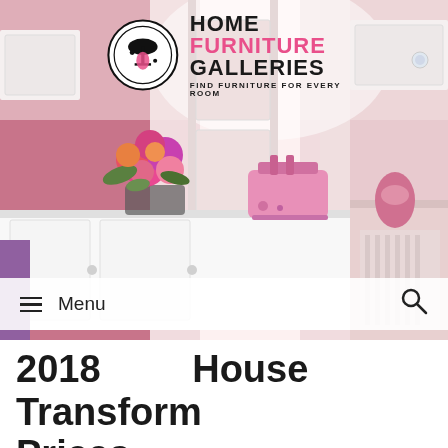[Figure (photo): Kitchen/home interior photo showing white cabinets with a pink toaster and flower bouquet on a white countertop, pink walls, warm bright light. Used as header background image.]
[Figure (logo): Home Furniture Galleries logo: circular black line icon with an umbrella/lamp shape and pink oval, beside bold text reading HOME FURNITURE GALLERIES with tagline FIND FURNITURE FOR EVERY ROOM. FURNITURE is in pink.]
≡ Menu  🔍
2018 House Transform Prices
January 15, 2018 by Michael A. Boucher